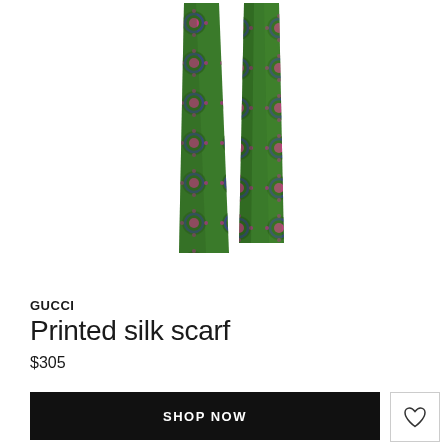[Figure (photo): Green silk scarf with floral/medallion pattern in pink and blue, shown spread out with two hanging ends against a white background]
GUCCI
Printed silk scarf
$305
SHOP NOW